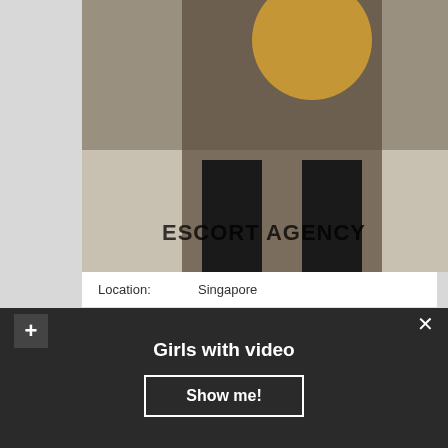[Figure (photo): Escort agency promotional photo showing a woman in black lingerie and stockings on a bed, with watermark text 'ESCORT AGENCY']
| Field | Value |
| --- | --- |
| Location: | Singapore |
| Age: | 24 |
| Height: | 177... |
Girls with video
Show me!